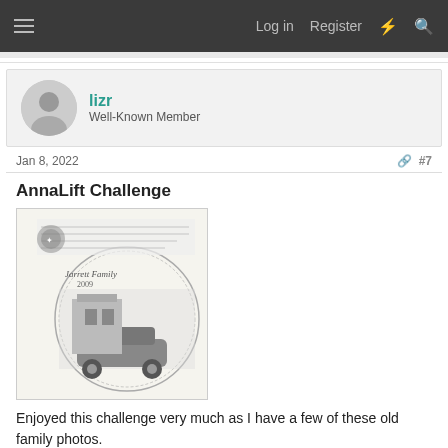Log in  Register
lizr
Well-Known Member
Jan 8, 2022
#7
AnnaLift Challenge
[Figure (photo): Old black and white family photo collage with vintage car and circular frame, labeled 'Jarrett Family 2009']
Enjoyed this challenge very much as I have a few of these old family photos.
😍 NanaJ and NAdams